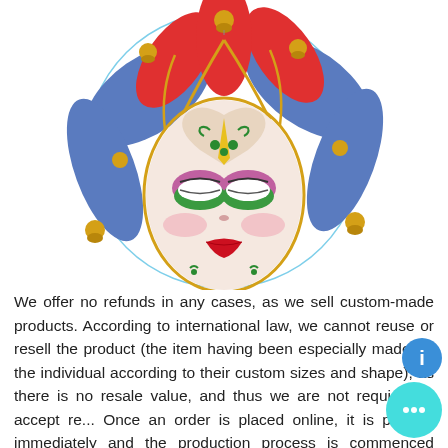[Figure (illustration): A colorful Venetian carnival jester mask with red, blue, and gold colors, featuring bells on the tips of the jester hat, green and purple eye makeup, red lips, and decorative patterns. The mask is displayed inside a light blue circle outline on a white background.]
We offer no refunds in any cases, as we sell custom-made products. According to international law, we cannot reuse or resell the product (the item having been especially made for the individual according to their custom sizes and shape), as there is no resale value, and thus we are not required to accept re... Once an order is placed online, it is proce... immediately and the production process is commenced instantly. Please note that cancellation of